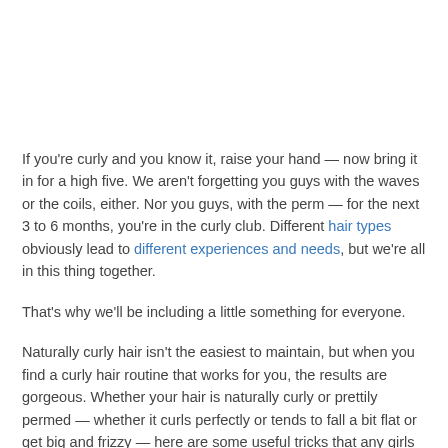If you're curly and you know it, raise your hand — now bring it in for a high five. We aren't forgetting you guys with the waves or the coils, either. Nor you guys, with the perm — for the next 3 to 6 months, you're in the curly club. Different hair types obviously lead to different experiences and needs, but we're all in this thing together.
That's why we'll be including a little something for everyone.
Naturally curly hair isn't the easiest to maintain, but when you find a curly hair routine that works for you, the results are gorgeous. Whether your hair is naturally curly or prettily permed — whether it curls perfectly or tends to fall a bit flat or get big and frizzy — here are some useful tricks that any girls with curly hair should keep in mind.